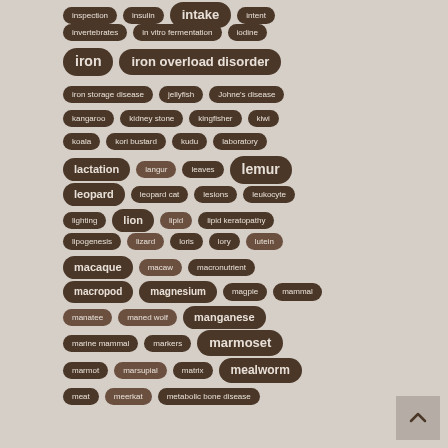inspection
insulin
intake
intent
invertebrates
in vitro fermentation
iodine
iron
iron overload disorder
iron storage disease
jellyfish
Johne's disease
kangaroo
kidney stone
kingfisher
kiwi
koala
kori bustard
kudu
laboratory
lactation
langur
leaves
lemur
leopard
leopard cat
lesions
leukocyte
lighting
lion
lipid
lipid keratopathy
lipogenesis
lizard
loris
lory
lutein
macaque
macaw
macronutrient
macropod
magnesium
magpie
mammal
manatee
maned wolf
manganese
marine mammal
markers
marmoset
marmot
marsupial
matrix
mealworm
meat
meerkat
metabolic bone disease